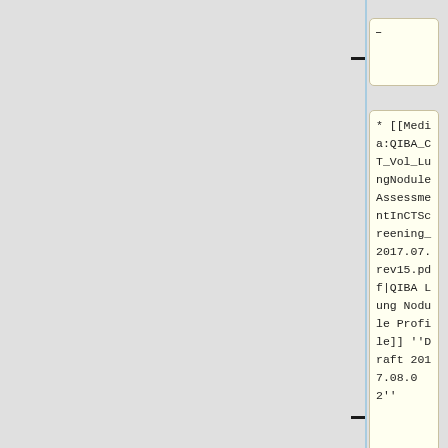-
* [[Media:QIBA_CT_Vol_LungNoduleAssessmentInCTScreening_2017.07.rev15.pdf|QIBA Lung Nodule Profile]] ''Draft 2017.08.02''
:* [[Media:QIBA_CT_Vol_LungNoduleAssessmentInCTScreening_2017.05.15+KOR_...